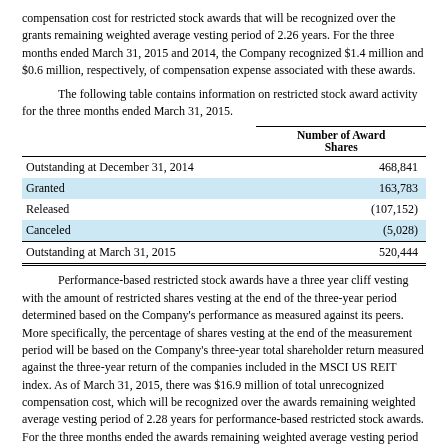compensation cost for restricted stock awards that will be recognized over the grants remaining weighted average vesting period of 2.26 years. For the three months ended March 31, 2015 and 2014, the Company recognized $1.4 million and $0.6 million, respectively, of compensation expense associated with these awards.
The following table contains information on restricted stock award activity for the three months ended March 31, 2015.
|  | Number of Award Shares |
| --- | --- |
| Outstanding at December 31, 2014 | 468,841 |
| Granted | 163,783 |
| Released | (107,152) |
| Canceled | (5,028) |
| Outstanding at March 31, 2015 | 520,444 |
Performance-based restricted stock awards have a three year cliff vesting with the amount of restricted shares vesting at the end of the three-year period determined based on the Company's performance as measured against its peers. More specifically, the percentage of shares vesting at the end of the measurement period will be based on the Company's three-year total shareholder return measured against the three-year return of the companies included in the MSCI US REIT index. As of March 31, 2015, there was $16.9 million of total unrecognized compensation cost, which will be recognized over the awards remaining weighted average vesting period of 2.28 years for performance-based restricted stock awards. For the three months ended...